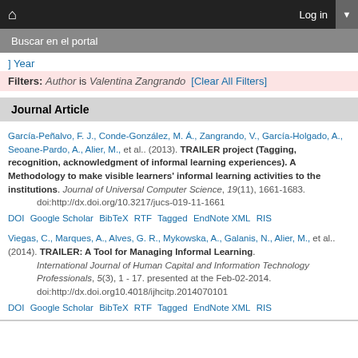Buscar en el portal | Log in
] Year
Filters: Author is Valentina Zangrando [Clear All Filters]
Journal Article
García-Peñalvo, F. J., Conde-González, M. Á., Zangrando, V., García-Holgado, A., Seoane-Pardo, A., Alier, M., et al.. (2013). TRAILER project (Tagging, recognition, acknowledgment of informal learning experiences). A Methodology to make visible learners' informal learning activities to the institutions. Journal of Universal Computer Science, 19(11), 1661-1683. doi:http://dx.doi.org/10.3217/jucs-019-11-1661
DOI Google Scholar BibTeX RTF Tagged EndNote XML RIS
Viegas, C., Marques, A., Alves, G. R., Mykowska, A., Galanis, N., Alier, M., et al.. (2014). TRAILER: A Tool for Managing Informal Learning. International Journal of Human Capital and Information Technology Professionals, 5(3), 1 - 17. presented at the Feb-02-2014. doi:http://dx.doi.org10.4018/ijhcitp.2014070101
DOI Google Scholar BibTeX RTF Tagged EndNote XML RIS